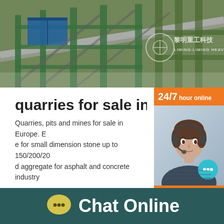[Figure (photo): Industrial facility / mining conveyor structure with green metal scaffolding and blue container. Liming Heavy Industry watermark in Chinese and English.]
quarries for sale in ireland
Quarries, pits and mines for sale in Europe. E e for small dimension stone up to 150/200/20 d aggregate for asphalt and concrete industry
Capacity
450-500T/H
Reviews
[Figure (screenshot): 24/7 hour online chat widget with agent photo, chat bubble, Click to chat button, and Enquiry section in orange and white.]
[Figure (infographic): Dark teal bottom bar with yellow speech bubble icon and Chat Online text in white.]